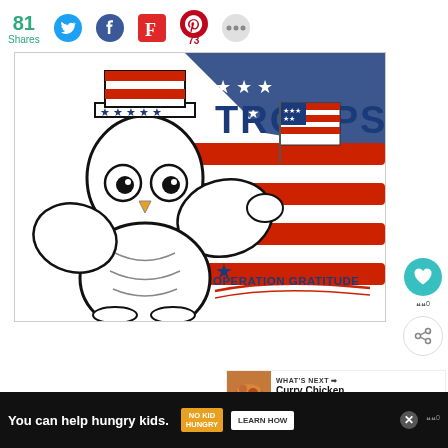81 Shares
[Figure (illustration): Cartoon owl wearing Uncle Sam top hat holding an American flag, with red, white and blue brushstroke background and text reading 'TROOPS' and 'OPERATION GRATITUDE']
[Figure (screenshot): Social media sidebar with heart/like button (teal circle) and share button, and 'What's Next: Curry Chicken Wings' recommendation box with food photo]
[Figure (infographic): Ad bar at bottom: 'You can help hungry kids.' with No Kid Hungry logo and Learn How button]